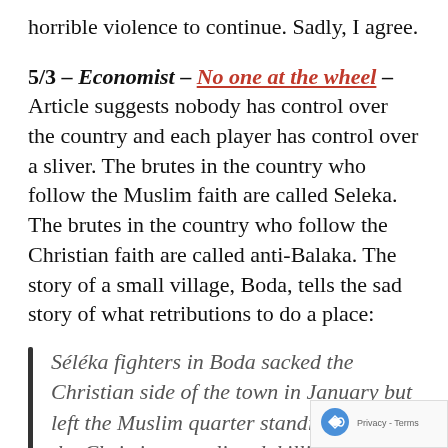horrible violence to continue. Sadly, I agree.
5/3 – Economist – No one at the wheel – Article suggests nobody has control over the country and each player has control over a sliver. The brutes in the country who follow the Muslim faith are called Seleka. The brutes in the country who follow the Christian faith are called anti-Balaka. The story of a small village, Boda, tells the sad story of what retributions to do a place:
Séléka fighters in Boda sacked the Christian side of the town in January but left the Muslim quarter standing. Then the Christians retaliated, killi…